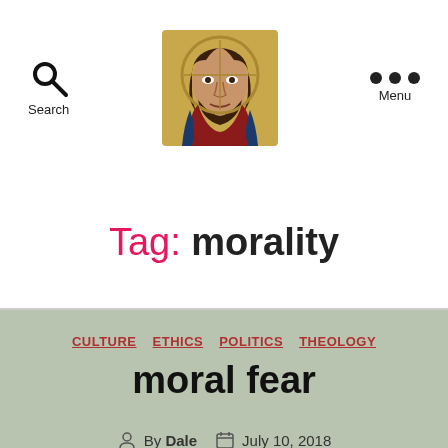[Figure (illustration): Byzantine icon of Jesus Christ, used as website logo/header image]
Tag: morality
CULTURE
ETHICS
POLITICS
THEOLOGY
moral fear
By Dale   July 10, 2018
Ethical discourse, I suggest, is degraded and corrupted